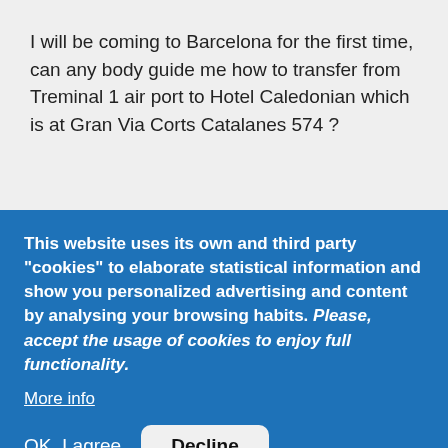I will be coming to Barcelona for the first time, can any body guide me how to transfer from Treminal 1 air port to Hotel Caledonian which is at Gran Via Corts Catalanes 574 ?
This website uses its own and third party "cookies" to elaborate statistical information and show you personalized advertising and content by analysing your browsing habits. Please, accept the usage of cookies to enjoy full functionality.
More info
OK, I agree
Decline